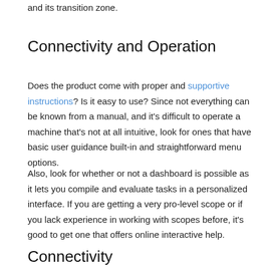and its transition zone.
Connectivity and Operation
Does the product come with proper and supportive instructions? Is it easy to use? Since not everything can be known from a manual, and it's difficult to operate a machine that's not at all intuitive, look for ones that have basic user guidance built-in and straightforward menu options.
Also, look for whether or not a dashboard is possible as it lets you compile and evaluate tasks in a personalized interface. If you are getting a very pro-level scope or if you lack experience in working with scopes before, it's good to get one that offers online interactive help.
Connectivity